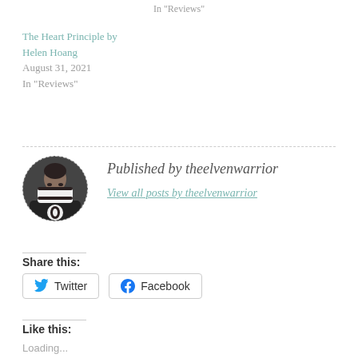In "Reviews"
The Heart Principle by Helen Hoang
August 31, 2021
In "Reviews"
[Figure (photo): Circular avatar photo of a person wearing a scarf covering their face, with a dashed circular border]
Published by theelvenwarrior
View all posts by theelvenwarrior
Share this:
Twitter
Facebook
Like this:
Loading...